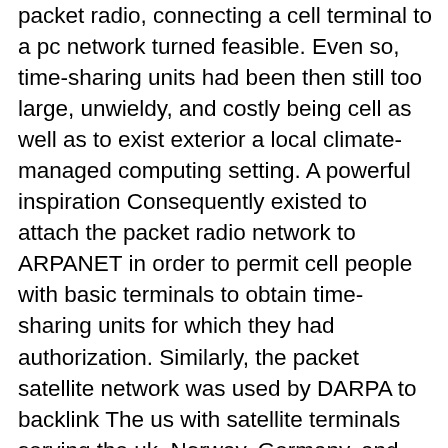packet radio, connecting a cell terminal to a pc network turned feasible. Even so, time-sharing units had been then still too large, unwieldy, and costly being cell as well as to exist exterior a local climate-managed computing setting. A powerful inspiration Consequently existed to attach the packet radio network to ARPANET in order to permit cell people with basic terminals to obtain time-sharing units for which they had authorization. Similarly, the packet satellite network was used by DARPA to backlink The us with satellite terminals serving the uk, Norway, Germany, and Italy. These terminals, on the other hand, needed to be connected to other networks in European nations in order to get to the stop people. So arose the need to link the packet satellite Web, as well as the packet radio Web, with other networks. Basis of the online world The net resulted from the hassle to attach several study networks in The us and Europe. 1st, DARPA...